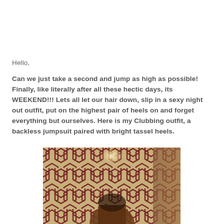Hello,
Can we just take a second and jump as high as possible! Finally, like literally after all these hectic days, its WEEKEND!!! Lets all let our hair down, slip in a sexy night out outfit, put on the highest pair of heels on and forget everything but ourselves. Here is my Clubbing outfit, a backless jumpsuit paired with bright tassel heels.
[Figure (photo): A woman in a backless jumpsuit standing in front of a decorative wall with a geometric hexagonal pattern in cream and dark red/maroon colors. The image is partially cropped showing the lower portion of the scene.]